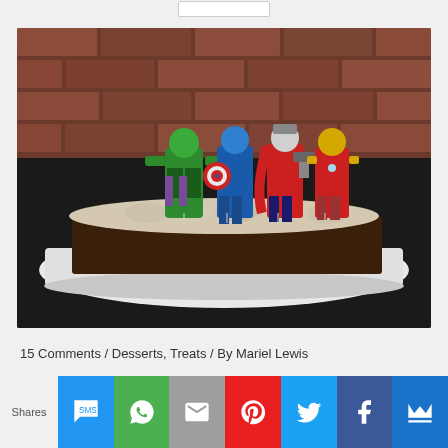[Figure (photo): A chocolate brownie/cake topped with whipped cream and four superhero figurine toppers (Hulk, Captain America, Thor, Iron Man) on a white plate, brick wall background.]
15 Comments / Desserts, Treats / By Mariel Lewis
[Figure (infographic): Social sharing bar with icons for SMS, WhatsApp, Email, Pinterest, Twitter, Facebook, and a crown icon. Shows 'Shares' label on the left.]